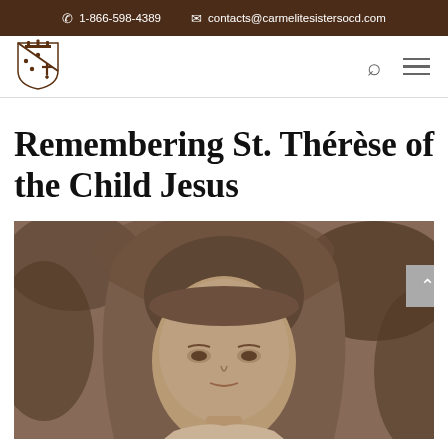1-866-598-4389  contacts@carmelitesistersocd.com
[Figure (logo): Carmelite Sisters OCD shield/crest logo in brown]
Remembering St. Thérèse of the Child Jesus
[Figure (photo): Sepia-toned historical photograph of St. Thérèse of the Child Jesus wearing a religious habit/veil, looking slightly to the side with trees in the background]